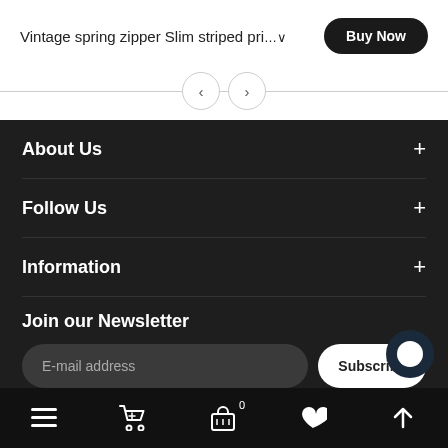Vintage spring zipper Slim striped pri…
Buy Now
About Us
Follow Us
Information
Join our Newsletter
E-mail address
Subscribe
Navigation bar with menu, cart, basket, heart, and up arrow icons